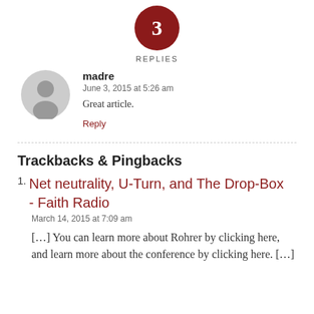[Figure (other): Dark red circle badge with number 3 inside, and 'REPLIES' label below]
madre
June 3, 2015 at 5:26 am
Great article.
Reply
Trackbacks & Pingbacks
1. Net neutrality, U-Turn, and The Drop-Box - Faith Radio
March 14, 2015 at 7:09 am
[...] You can learn more about Rohrer by clicking here, and learn more about the conference by clicking here. [...]